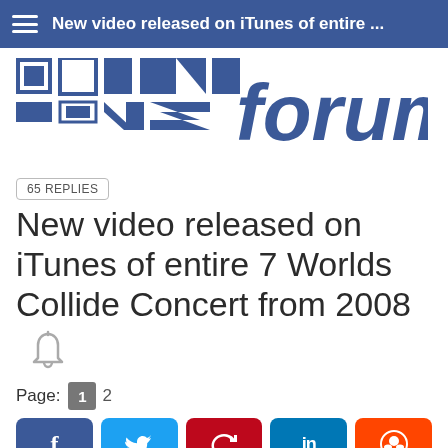New video released on iTunes of entire ...
[Figure (logo): FNZ Forum logo with blue geometric squares and triangles pattern on the left and italic bold 'forum' text in blue on the right]
65 REPLIES
New video released on iTunes of entire 7 Worlds Collide Concert from 2008
[Figure (other): Bell/notification icon in gray outline style]
Page: 1 2
[Figure (other): Social share buttons row: Facebook (f), Twitter (bird), Pinterest (P), LinkedIn (in), Reddit (alien)]